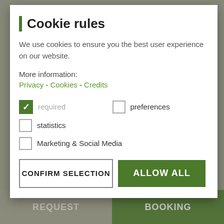[Figure (screenshot): Background mountain landscape with sky, rocky peaks, trees and green meadow]
Cookie rules
We use cookies to ensure you the best user experience on our website.
More information:
Privacy - Cookies - Credits
required (checked)
preferences (unchecked)
statistics (unchecked)
Marketing & Social Media (unchecked)
CONFIRM SELECTION
ALLOW ALL
REQUEST
BOOKING